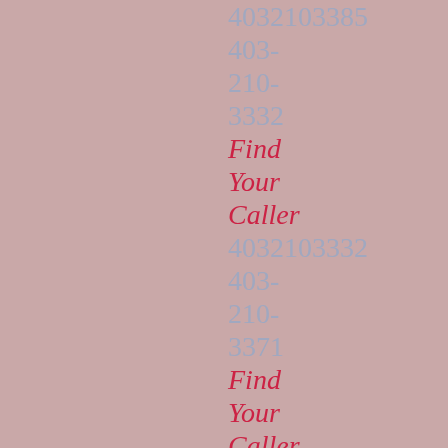4032103385
403-
210-
3332
Find
Your
Caller
4032103332
403-
210-
3371
Find
Your
Caller
4032103371
403-